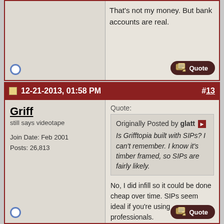That's not my money. But bank accounts are real.
12-21-2013, 01:58 PM  #13
Griff
still says videotape
Join Date: Feb 2001
Posts: 26,813
Quote:
Originally Posted by glatt
Is Grifftopia built with SIPs? I can't remember. I know it's timber framed, so SIPs are fairly likely.
No, I did infill so it could be done cheap over time. SIPs seem ideal if you're using professionals.

*de-drift engaged*
If you would only recognize that life is hard, things would be so much easier for you.
- Louis D. Brandeis